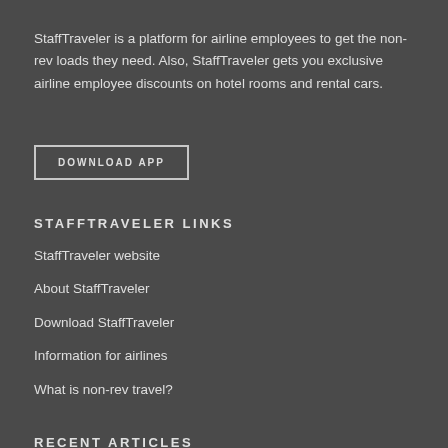StaffTraveler is a platform for airline employees to get the non-rev loads they need. Also, StaffTraveler gets you exclusive airline employee discounts on hotel rooms and rental cars.
DOWNLOAD APP
STAFFTRAVELER LINKS
StaffTraveler website
About StaffTraveler
Download StaffTraveler
Information for airlines
What is non-rev travel?
RECENT ARTICLES